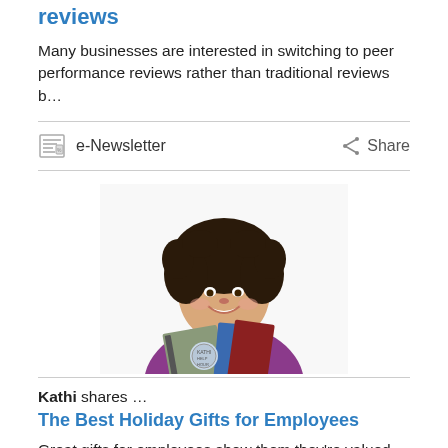reviews
Many businesses are interested in switching to peer performance reviews rather than traditional reviews b…
e-Newsletter   Share
[Figure (photo): A woman with curly dark hair, wearing a purple top, smiling and holding notebooks and binders.]
Kathi shares …
The Best Holiday Gifts for Employees
Great gifts for employees show them they're valued and appreciated by your organization.